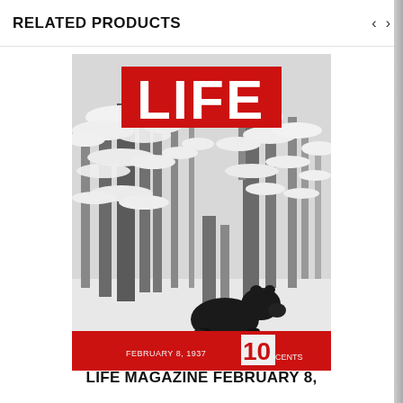RELATED PRODUCTS
[Figure (photo): LIFE Magazine cover dated February 8, 1937. Black and white photo of a bear standing in snow among snow-covered trees. Red LIFE logo banner at top. Red bar at bottom reading 'FEBRUARY 8, 1937  10 CENTS'.]
LIFE MAGAZINE FEBRUARY 8,